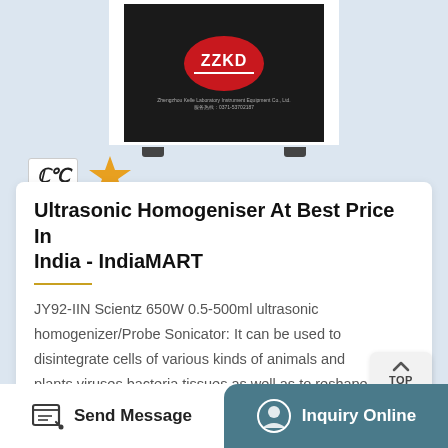[Figure (photo): ZZKD branded ultrasonic homogeniser device in black casing with CE and gold quality badge below it, on a light blue background]
Ultrasonic Homogeniser At Best Price In India - IndiaMART
JY92-IIN Scientz 650W 0.5-500ml ultrasonic homogenizer/Probe Sonicator: It can be used to disintegrate cells of various kinds of animals and plants,viruses,bacteria,tissues as well as to reshape…
[Figure (photo): Metal probe sonicator tip, narrow elongated stainless steel probe on white background]
Send Message
Inquiry Online